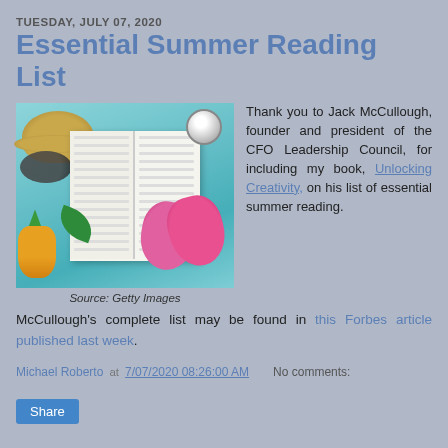TUESDAY, JULY 07, 2020
Essential Summer Reading List
[Figure (photo): Open book on a teal wooden surface surrounded by a straw hat, sunglasses, flip flops, pineapple, tropical leaf, and a striped ball. Summer reading theme.]
Source: Getty Images
Thank you to Jack McCullough, founder and president of the CFO Leadership Council, for including my book, Unlocking Creativity, on his list of essential summer reading.   McCullough's complete list may be found in this Forbes article published last week.
Michael Roberto at 7/07/2020 08:26:00 AM    No comments: